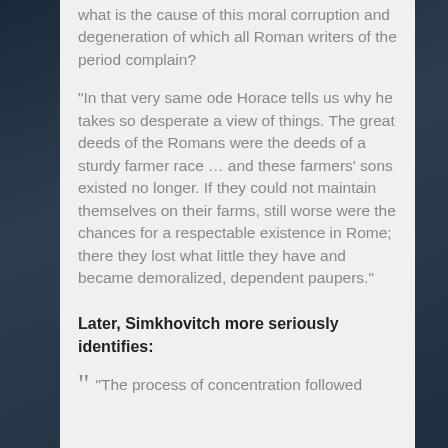what is the cause of this moral corruption and degeneration of which all Roman writers of the period complain?
“In that very same ode Horace tells us why he takes so desperate a view of things. The great deeds of the Romans were the deeds of a sturdy farmer race … and these farmers’ sons existed no longer. If they could not maintain themselves on their farms, still worse were the chances for a respectable existence in Rome; there they lost what little they have and became demoralized, dependent paupers.”
Later, Simkhovitch more seriously identifies:
“ “The process of concentration followed